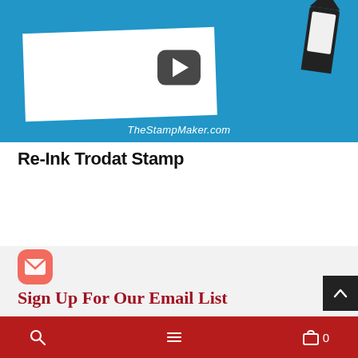[Figure (screenshot): Video thumbnail showing TheStampMaker.com branding with a blue background, a white paper sheet, a Trodat stamp ink bottle on the right, a YouTube-style play button in the center, and the watermark text 'TheStampMaker.com' at the bottom.]
Re-Ink Trodat Stamp
[Figure (illustration): Email icon in a rounded red/coral square background]
Sign Up For Our Email List
Get stamp ideas and promotions, plus a line to the newest
[Figure (screenshot): Bottom navigation bar with search, menu, and cart (0) icons on a red background]